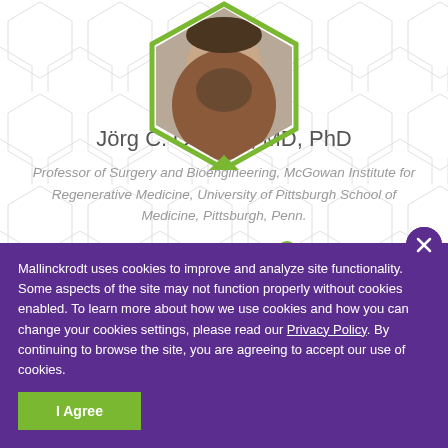[Figure (photo): Hexagon-framed photo of Jörg C. Gerlach, a man with a beard, cropped at top of page]
Jörg C. Gerlach, MD, PhD
Professor of Surgery and Bioengineering, McGowan Institute for Regenerative Medicine, University of Pittsburgh School of Medicine, Pittsburgh, Penn.
Read Biography ❯
[Figure (photo): Partially visible hexagon-framed photo of a second person, cut off at bottom]
Mallinckrodt uses cookies to improve and analyze site functionality. Some aspects of the site may not function properly without cookies enabled. To learn more about how we use cookies and how you can change your cookies settings, please read our Privacy Policy. By continuing to browse the site, you are agreeing to accept our use of cookies.
I Agree